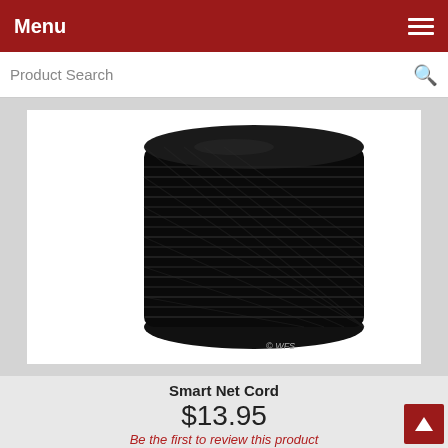Menu
Product Search
[Figure (photo): A spool/roll of black UV-protected polyethylene cord (Smart Net Cord), showing tightly wound black twisted rope on a cylindrical spool. Copyright watermark '© WFS' visible at bottom right of image.]
Smart Net Cord
$13.95
Be the first to review this product
660' roll of black UV protected polyethylene cord for joining